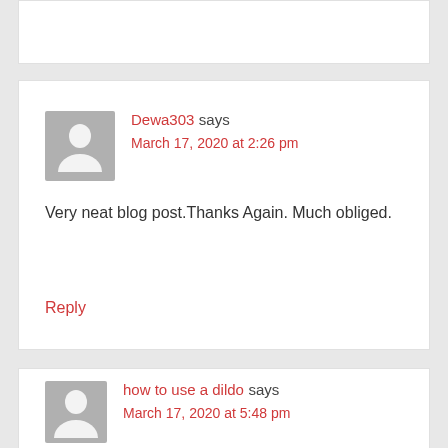(partial comment card top)
Dewa303 says
March 17, 2020 at 2:26 pm
Very neat blog post.Thanks Again. Much obliged.
Reply
how to use a dildo says
March 17, 2020 at 5:48 pm